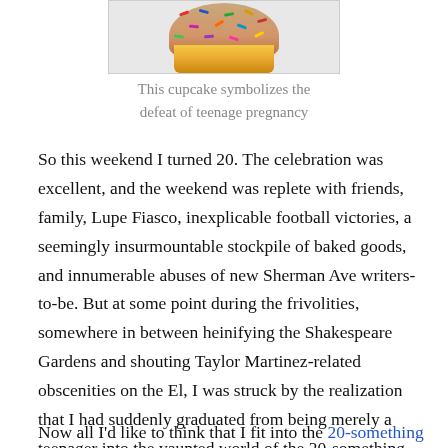[Figure (photo): A colorful cupcake with sprinkles in a striped paper wrapper, partially cropped at the top]
This cupcake symbolizes the defeat of teenage pregnancy
So this weekend I turned 20. The celebration was excellent, and the weekend was replete with friends, family, Lupe Fiasco, inexplicable football victories, a seemingly insurmountable stockpile of baked goods, and innumerable abuses of new Sherman Ave writers-to-be. But at some point during the frivolities, somewhere in between heinifying the Shakespeare Gardens and shouting Taylor Martinez-related obscenities on the El, I was struck by the realization that I had suddenly graduated from being merely a teenager into the vaunted world of the 20-something.
Now all I'd like to think that I fit into the 20-something archetype...